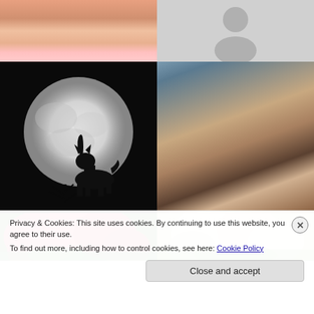[Figure (photo): Close-up photo of a person with red/auburn hair, wearing a light pink top, cropped at shoulders/neck area]
[Figure (photo): Gray placeholder avatar silhouette icon on light gray background]
[Figure (photo): Black and white photo of a wolf howling at a large full moon, with bare tree silhouette]
[Figure (photo): Selfie photo of a smiling woman with dark short hair wearing a leopard-print coat, taken inside a car]
[Figure (photo): Photo of red/pink roses and flowers with green leaves]
[Figure (photo): Photo of white/cream roses with green leaves]
Privacy & Cookies: This site uses cookies. By continuing to use this website, you agree to their use.
To find out more, including how to control cookies, see here: Cookie Policy
Close and accept